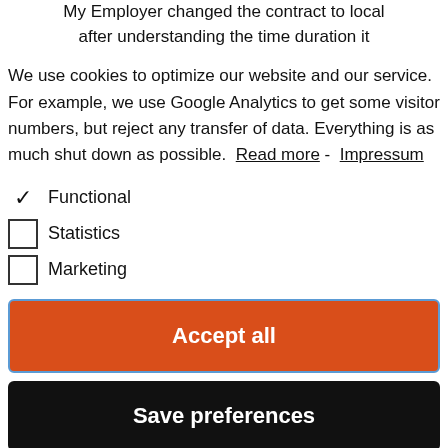My Employer changed the contract to local after understanding the time duration it
We use cookies to optimize our website and our service. For example, we use Google Analytics to get some visitor numbers, but reject any transfer of data. Everything is as much shut down as possible. Read more - Impressum
✓ Functional
☐ Statistics
☐ Marketing
Accept all
Save preferences
not be a big problem give them the income